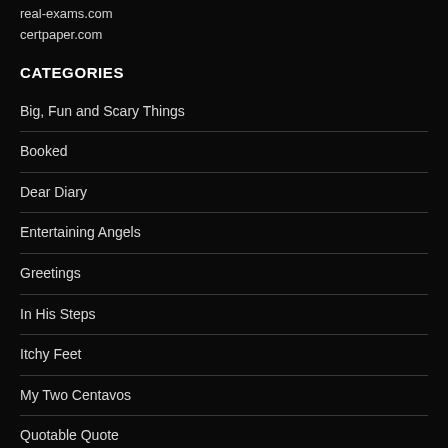real-exams.com
certpaper.com
CATEGORIES
Big, Fun and Scary Things
Booked
Dear Diary
Entertaining Angels
Greetings
In His Steps
Itchy Feet
My Two Centavos
Quotable Quote